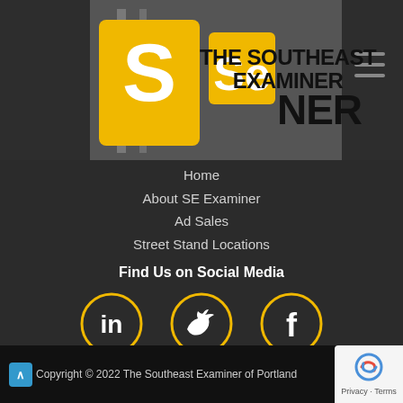[Figure (logo): The Southeast Examiner logo with yellow S and Se icons and text 'THE SOUTHEAST EXAMINER']
Home
About SE Examiner
Ad Sales
Street Stand Locations
Find Us on Social Media
[Figure (illustration): Three social media icons (LinkedIn, Twitter, Facebook) in yellow circles on dark background]
Copyright © 2022 The Southeast Examiner of Portland